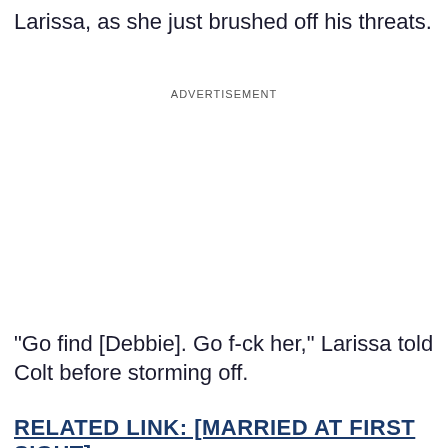Larissa, as she just brushed off his threats.
ADVERTISEMENT
"Go find [Debbie]. Go f-ck her," Larissa told Colt before storming off.
RELATED LINK: [MARRIED AT FIRST SIGHT]